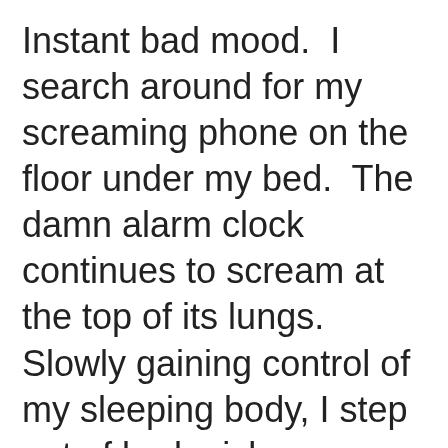Instant bad mood.  I search around for my screaming phone on the floor under my bed.  The damn alarm clock continues to scream at the top of its lungs.  Slowly gaining control of my sleeping body, I step out of bed, pick up my phone and turn off the alarm.  The pain of waking up.  In heaven, I will roll over and enjoy the waking up process just as much as snuggling into bed and drifting off to sleep